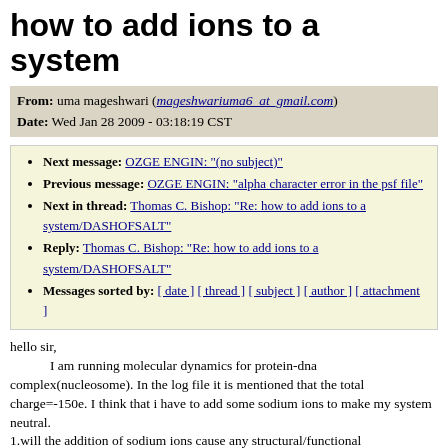how to add ions to a system
From: uma mageshwari (mageshwariuma6_at_gmail.com)
Date: Wed Jan 28 2009 - 03:18:19 CST
Next message: OZGE ENGIN: "(no subject)"
Previous message: OZGE ENGIN: "alpha character error in the psf file"
Next in thread: Thomas C. Bishop: "Re: how to add ions to a system/DASHOFSALT"
Reply: Thomas C. Bishop: "Re: how to add ions to a system/DASHOFSALT"
Messages sorted by: [ date ] [ thread ] [ subject ] [ author ] [ attachment ]
hello sir,
        I am running molecular dynamics for protein-dna complex(nucleosome). In the log file it is mentioned that the total charge=-150e. I think that i have to add some sodium ions to make my system
neutral.
1.will the addition of sodium ions cause any structural/functional disturbances?